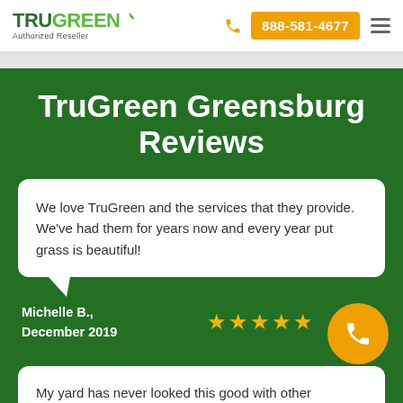TruGreen Authorized Reseller | 888-581-4677
TruGreen Greensburg Reviews
We love TruGreen and the services that they provide. We've had them for years now and every year put grass is beautiful!
Michelle B., December 2019 ★★★★★
My yard has never looked this good with other